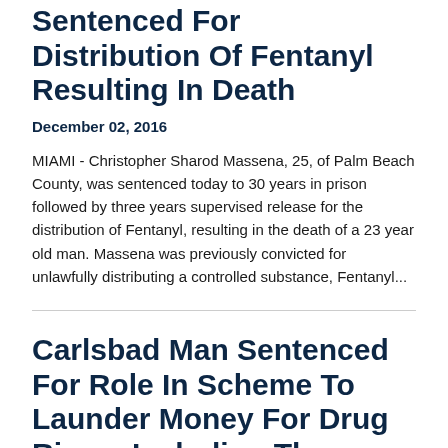Sentenced For Distribution Of Fentanyl Resulting In Death
December 02, 2016
MIAMI - Christopher Sharod Massena, 25, of Palm Beach County, was sentenced today to 30 years in prison followed by three years supervised release for the distribution of Fentanyl, resulting in the death of a 23 year old man. Massena was previously convicted for unlawfully distributing a controlled substance, Fentanyl...
Carlsbad Man Sentenced For Role In Scheme To Launder Money For Drug Rings, Including The Sinaloa Cartel